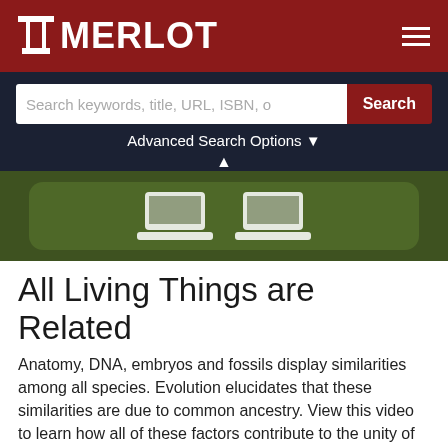MERLOT
[Figure (screenshot): MERLOT website screenshot showing search bar with placeholder text 'Search keywords, title, URL, ISBN, o' and a red Search button, with Advanced Search Options link below, and a green rounded rectangle area with a partial laptop icon visible]
All Living Things are Related
Anatomy, DNA, embryos and fossils display similarities among all species. Evolution elucidates that these similarities are due to common ancestry. View this video to learn how all of these factors contribute to the unity of life. Also included in this website are five HHMI Holiday Lecture Connections videos. In the Fossils, Genes and Mousetraps 12:14-14:43 video, Dr. Kenneth Miller describes what we can learn from transitional fossils and